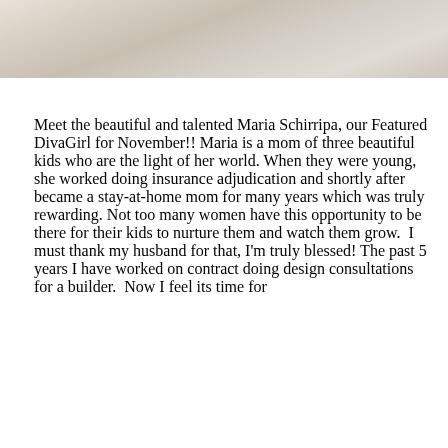[Figure (photo): Partial photo of a light-colored marble or stone surface, cropped at top]
Meet the beautiful and talented Maria Schirripa, our Featured DivaGirl for November!! Maria is a mom of three beautiful kids who are the light of her world. When they were young, she worked doing insurance adjudication and shortly after became a stay-at-home mom for many years which was truly rewarding. Not too many women have this opportunity to be there for their kids to nurture them and watch them grow.  I must thank my husband for that, I'm truly blessed! The past 5 years I have worked on contract doing design consultations for a builder.  Now I feel its time for